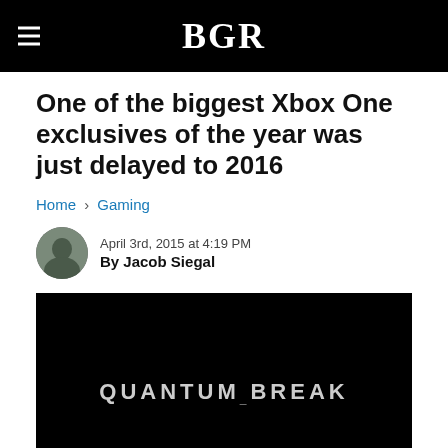BGR
One of the biggest Xbox One exclusives of the year was just delayed to 2016
Home › Gaming
April 3rd, 2015 at 4:19 PM
By Jacob Siegal
[Figure (photo): Black background with white text reading QUANTUM BREAK logo]